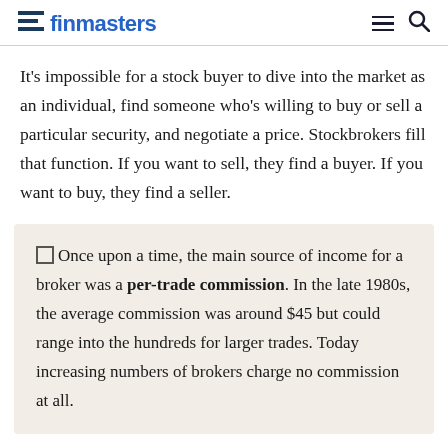finmasters
It’s impossible for a stock buyer to dive into the market as an individual, find someone who’s willing to buy or sell a particular security, and negotiate a price. Stockbrokers fill that function. If you want to sell, they find a buyer. If you want to buy, they find a seller.
Once upon a time, the main source of income for a broker was a per-trade commission. In the late 1980s, the average commission was around $45 but could range into the hundreds for larger trades. Today increasing numbers of brokers charge no commission at all.